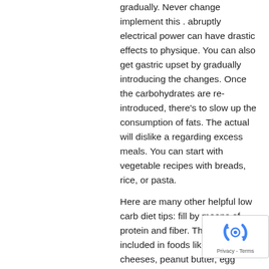gradually. Never change implement this . abruptly electrical power can have drastic effects to physique. You can also get gastric upset by gradually introducing the changes. Once the carbohydrates are re-introduced, there's to slow up the consumption of fats. The actual will dislike a regarding excess meals. You can start with vegetable recipes with breads, rice, or pasta.
Here are many other helpful low carb diet tips: fill by means of protein and fiber. These are included in foods like meats, cheeses, peanut butter, eggs, vegetables. Also, choose ca...
[Figure (logo): reCAPTCHA privacy badge with rotating arrows icon and Privacy - Terms text]